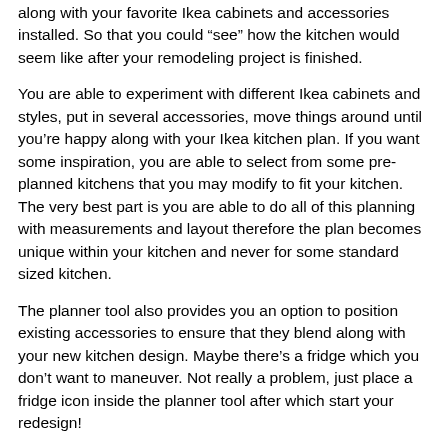along with your favorite Ikea cabinets and accessories installed. So that you could “see” how the kitchen would seem like after your remodeling project is finished.
You are able to experiment with different Ikea cabinets and styles, put in several accessories, move things around until you’re happy along with your Ikea kitchen plan. If you want some inspiration, you are able to select from some pre-planned kitchens that you may modify to fit your kitchen. The very best part is you are able to do all of this planning with measurements and layout therefore the plan becomes unique within your kitchen and never for some standard sized kitchen.
The planner tool also provides you an option to position existing accessories to ensure that they blend along with your new kitchen design. Maybe there’s a fridge which you don’t want to maneuver. Not really a problem, just place a fridge icon inside the planner tool after which start your redesign!
Image by: Pinterest.com